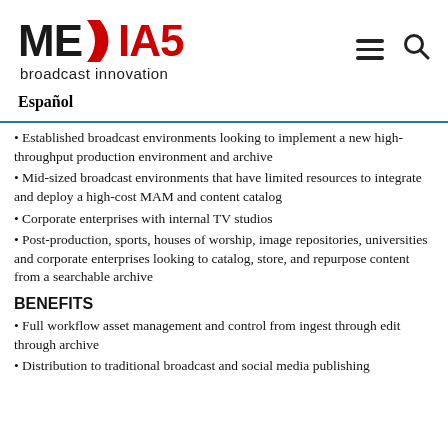[Figure (logo): MEDIA5 broadcast innovation logo with red stylized D and number 5]
Español
Established broadcast environments looking to implement a new high-throughput production environment and archive
Mid-sized broadcast environments that have limited resources to integrate and deploy a high-cost MAM and content catalog
Corporate enterprises with internal TV studios
Post-production, sports, houses of worship, image repositories, universities and corporate enterprises looking to catalog, store, and repurpose content from a searchable archive
BENEFITS
Full workflow asset management and control from ingest through edit through archive
Distribution to traditional broadcast and social media publishing